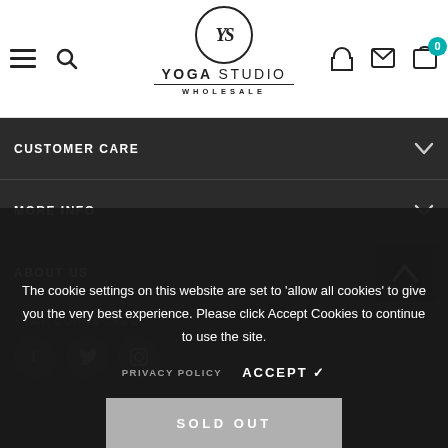[Figure (logo): Yoga Studio Wholesale logo with YS monogram in a circle]
CUSTOMER CARE
MORE INFO
ABOUT US
STAY CONNECTED
The cookie settings on this website are set to 'allow all cookies' to give you the very best experience. Please click Accept Cookies to continue to use the site.
PRIVACY POLICY   ACCEPT ✔
SOLD OUT